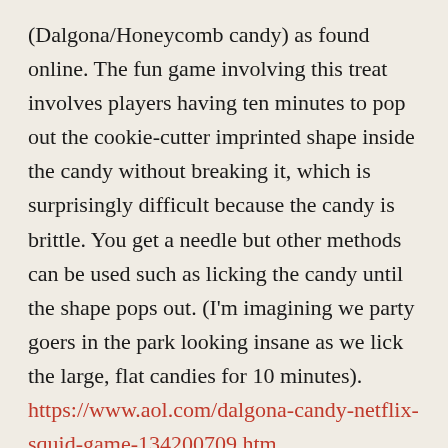(Dalgona/Honeycomb candy) as found online. The fun game involving this treat involves players having ten minutes to pop out the cookie-cutter imprinted shape inside the candy without breaking it, which is surprisingly difficult because the candy is brittle. You get a needle but other methods can be used such as licking the candy until the shape pops out. (I'm imagining we party goers in the park looking insane as we lick the large, flat candies for 10 minutes). https://www.aol.com/dalgona-candy-netflix-squid-game-134200709.htm
With all I've given you to fret about, please make some of this sweet candy and relax!!